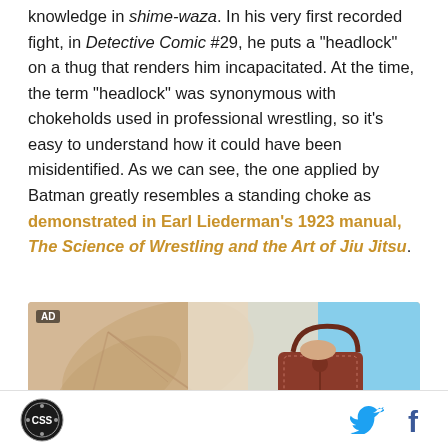knowledge in shime-waza. In his very first recorded fight, in Detective Comic #29, he puts a "headlock" on a thug that renders him incapacitated. At the time, the term "headlock" was synonymous with chokeholds used in professional wrestling, so it's easy to understand how it could have been misidentified. As we can see, the one applied by Batman greatly resembles a standing choke as demonstrated in Earl Liederman's 1923 manual, The Science of Wrestling and the Art of Jiu Jitsu.
[Figure (photo): Advertisement image showing a brown leather handbag with a person wearing a light-colored outfit, with a large tropical leaf in the background and blue sky visible]
CSS logo | Twitter icon | Facebook icon